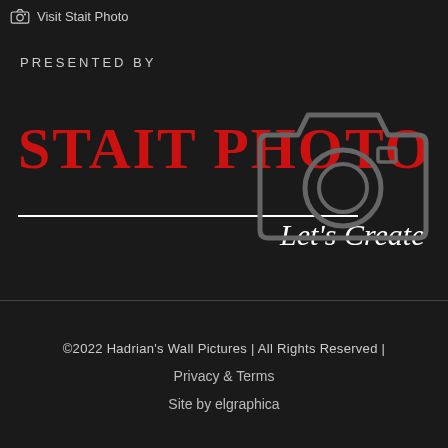Visit Stait Photo
PRESENTED BY
[Figure (logo): Stait Photo logo with red bold text 'STAIT PHOTO', white underline, cursive 'Let's Create' text, and a grey camera outline illustration on black background]
©2022 Hadrian's Wall Pictures | All Rights Reserved | Privacy & Terms Site by elgraphica